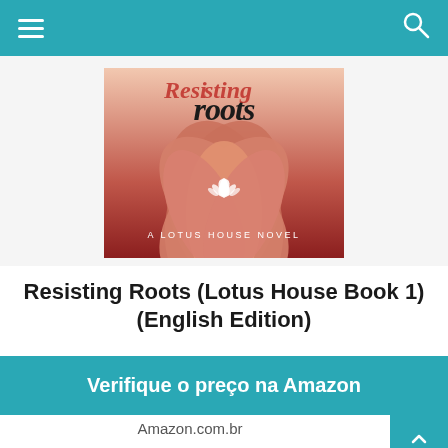≡  🔍
[Figure (illustration): Book cover of 'Resisting Roots' — a Lotus House Novel. Shows a calligraphic script title 'roots' in black with red accent on top word, large lotus flower petals in terracotta/salmon tones, a white lotus flower icon, and text 'A LOTUS HOUSE NOVEL' at the bottom on a dark red background.]
Resisting Roots (Lotus House Book 1) (English Edition)
Verifique o preço na Amazon
Amazon.com.br
Features
Is Adult Product